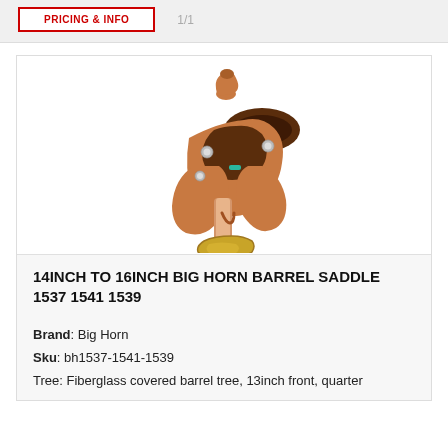PRICING & INFO
[Figure (photo): Product photo of a tan leather western barrel saddle with dark brown seat, silver conchos, and gold-tone stirrups, viewed from the front-left side against a white background.]
14INCH TO 16INCH BIG HORN BARREL SADDLE 1537 1541 1539
Brand: Big Horn
Sku: bh1537-1541-1539
Tree: Fiberglass covered barrel tree, 13inch front, quarter